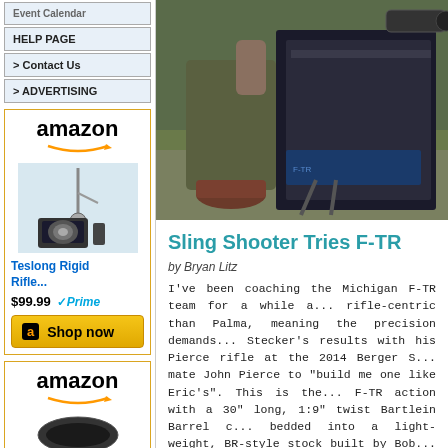Event Calendar
HELP PAGE
> Contact Us
> ADVERTISING
[Figure (screenshot): Amazon advertisement for Teslong Rigid Rifle bore scope, showing product image, price $99.99, Prime badge, and Shop now button]
[Figure (photo): Person in olive/green clothing crouching on a mat outdoors, handling a large F-TR rifle with bipod on a shooting mat, trees in background]
[Figure (screenshot): Second Amazon advertisement at bottom of sidebar]
Sling Shooter Tries F-TR
by Bryan Litz
I've been coaching the Michigan F-TR team for a while a... rifle-centric than Palma, meaning the precision demands... Stecker's results with his Pierce rifle at the 2014 Berger S... mate John Pierce to "build me one like Eric's". This is the... F-TR action with a 30" long, 1:9" twist Bartlein Barrel c... bedded into a light-weight, BR-style stock built by Bob... Competition scone complete the package.